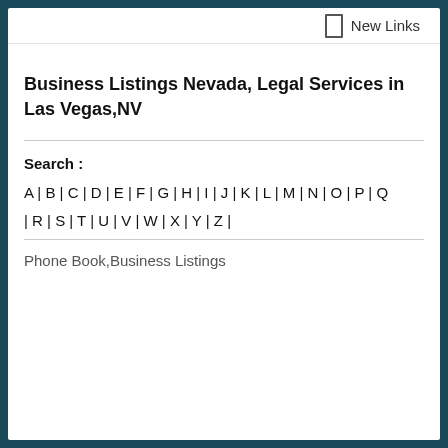New Links
Business Listings Nevada, Legal Services in Las Vegas,NV
Search :
A | B | C | D | E | F | G | H | I | J | K | L | M | N | O | P | Q | R | S | T | U | V | W | X | Y | Z |
Phone Book,Business Listings